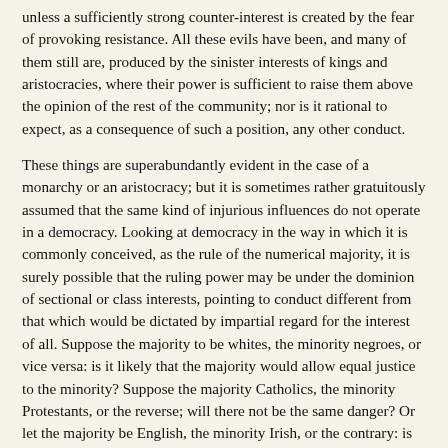unless a sufficiently strong counter-interest is created by the fear of provoking resistance. All these evils have been, and many of them still are, produced by the sinister interests of kings and aristocracies, where their power is sufficient to raise them above the opinion of the rest of the community; nor is it rational to expect, as a consequence of such a position, any other conduct.
These things are superabundantly evident in the case of a monarchy or an aristocracy; but it is sometimes rather gratuitously assumed that the same kind of injurious influences do not operate in a democracy. Looking at democracy in the way in which it is commonly conceived, as the rule of the numerical majority, it is surely possible that the ruling power may be under the dominion of sectional or class interests, pointing to conduct different from that which would be dictated by impartial regard for the interest of all. Suppose the majority to be whites, the minority negroes, or vice versa: is it likely that the majority would allow equal justice to the minority? Suppose the majority Catholics, the minority Protestants, or the reverse; will there not be the same danger? Or let the majority be English, the minority Irish, or the contrary: is there not a great probability of similar evil? In all countries there is a majority of poor, a minority who, in contradistinction, may be called rich. Between these two classes, on many questions, there is complete opposition of apparent interest. We will suppose the majority sufficiently intelligent to be aware that it is not for their